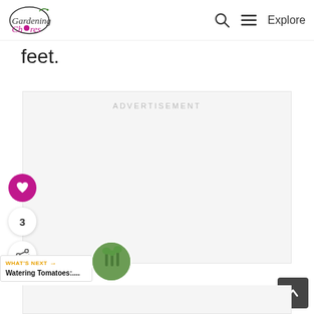Gardening Chores | Explore
feet.
[Figure (other): Advertisement placeholder box with light gray background and 'ADVERTISEMENT' label in gray uppercase text]
3
WHAT'S NEXT → Watering Tomatoes:....